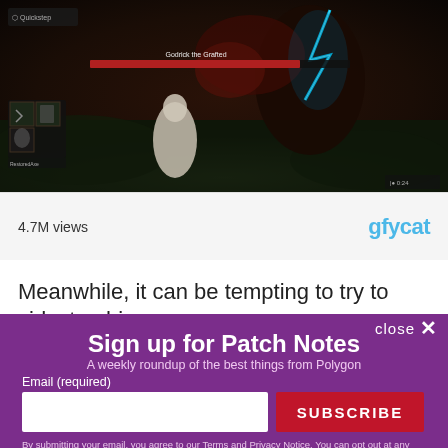[Figure (screenshot): Video game screenshot showing a dark fantasy combat scene with a boss character, HUD elements including health bars and inventory icons. Gfycat video embed with 4.7M views shown below the image.]
4.7M views
gfycat
Meanwhile, it can be tempting to try to sidestep him
close ✕
Sign up for Patch Notes
A weekly roundup of the best things from Polygon
Email (required)
SUBSCRIBE
By submitting your email, you agree to our Terms and Privacy Notice. You can opt out at any time. This site is protected by reCAPTCHA and the Google Privacy Policy and Terms of Service apply.